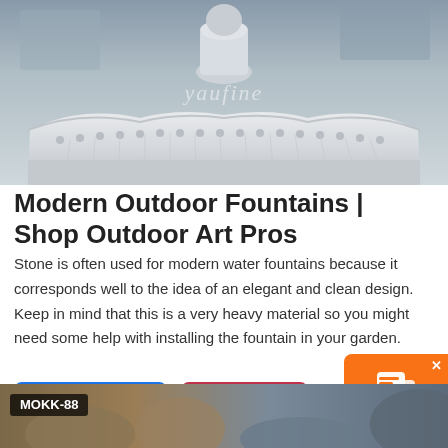[Figure (photo): White marble outdoor fountain with ornate basin and sculpted figures, watermark 'yaufine' overlaid]
Modern Outdoor Fountains | Shop Outdoor Art Pros
Stone is often used for modern water fountains because it corresponds well to the idea of an elegant and clean design. Keep in mind that this is a very heavy material so you might need some help with installing the fountain in your garden.
[Figure (photo): Bottom partial image of outdoor sculptures with MOKK-88 label, product listing thumbnail]